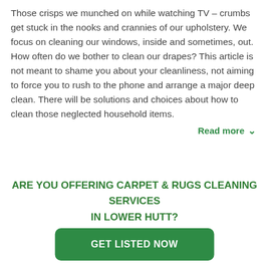Those crisps we munched on while watching TV – crumbs get stuck in the nooks and crannies of our upholstery. We focus on cleaning our windows, inside and sometimes, out. How often do we bother to clean our drapes? This article is not meant to shame you about your cleanliness, not aiming to force you to rush to the phone and arrange a major deep clean. There will be solutions and choices about how to clean those neglected household items.
Read more ∨
ARE YOU OFFERING CARPET & RUGS CLEANING SERVICES IN LOWER HUTT? GET LISTED HERE!
GET LISTED NOW